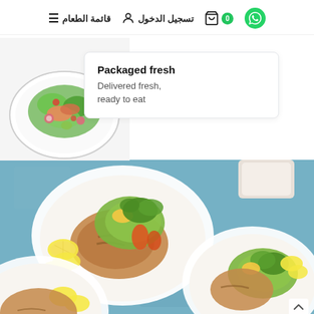تسجيل الدخول  قائمة الطعام  ☰  0
[Figure (photo): White plate with fresh salad featuring greens, salmon, radishes, and vegetables on a light background]
Packaged fresh
Delivered fresh, ready to eat
[Figure (photo): Overhead view of three white bowls filled with grilled salmon, guacamole, corn, cilantro, and lemon slices on a blue textured background]